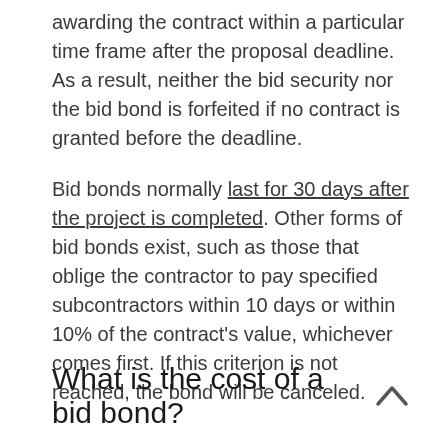awarding the contract within a particular time frame after the proposal deadline. As a result, neither the bid security nor the bid bond is forfeited if no contract is granted before the deadline.
Bid bonds normally last for 30 days after the project is completed. Other forms of bid bonds exist, such as those that oblige the contractor to pay specified subcontractors within 10 days or within 10% of the contract's value, whichever comes first. If this criterion is not reached, the bond will be canceled.
What is the cost of a bid bond?